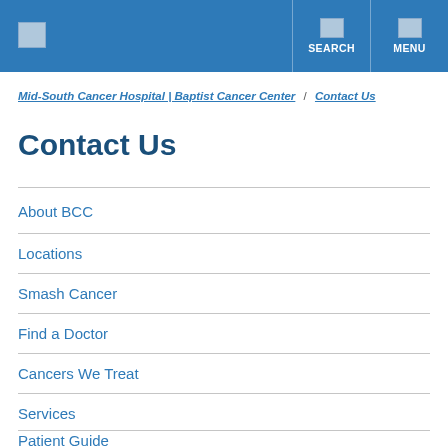SEARCH  MENU
Mid-South Cancer Hospital | Baptist Cancer Center / Contact Us
Contact Us
About BCC
Locations
Smash Cancer
Find a Doctor
Cancers We Treat
Services
Patient Guide
For Medical Professionals